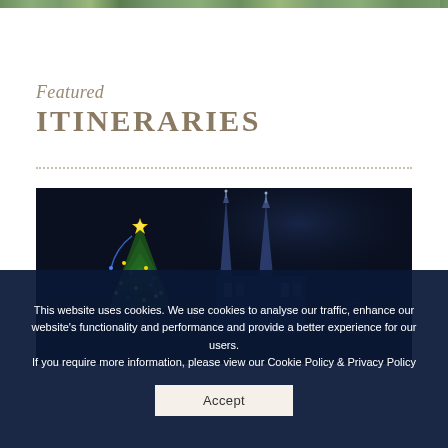[Figure (photo): Top edge of a nature/landscape photo strip, showing green foliage]
Featured ITINERARIES
[Figure (photo): Night photograph of a Christmas tree with a star topper and Gothic church spires (Týn Church) illuminated in blue/white lights, Prague Old Town Square]
This website uses cookies. We use cookies to analyse our traffic, enhance our website's functionality and performance and provide a better experience for our users.
If you require more information, please view our Cookie Policy & Privacy Policy
Accept